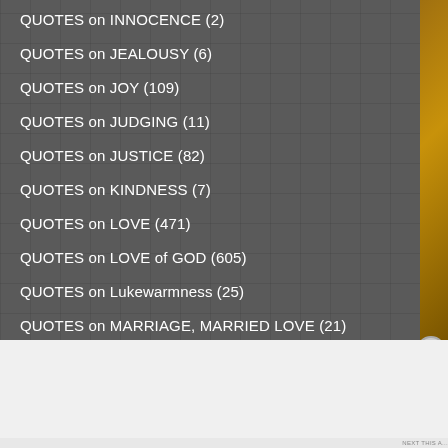QUOTES on INNOCENCE (2)
QUOTES on JEALOUSY (6)
QUOTES on JOY (109)
QUOTES on JUDGING (11)
QUOTES on JUSTICE (82)
QUOTES on KINDNESS (7)
QUOTES on LOVE (471)
QUOTES on LOVE of GOD (605)
QUOTES on Lukewarmness (25)
QUOTES on MARRIAGE, MARRIED LOVE (21)
QUOTES on MARTYRDOM (57)
Advertisements
[Figure (screenshot): Seamless food delivery advertisement banner with pizza image, red Seamless logo button, and ORDER NOW button]